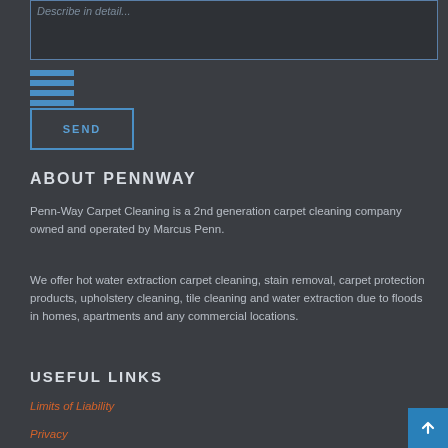Describe in detail...
[Figure (other): Hamburger menu icon with four horizontal blue bars]
SEND
ABOUT PENNWAY
Penn-Way Carpet Cleaning is a 2nd generation carpet cleaning company owned and operated by Marcus Penn.
We offer hot water extraction carpet cleaning, stain removal, carpet protection products, upholstery cleaning, tile cleaning and water extraction due to floods in homes, apartments and any commercial locations.
USEFUL LINKS
Limits of Liability
Privacy